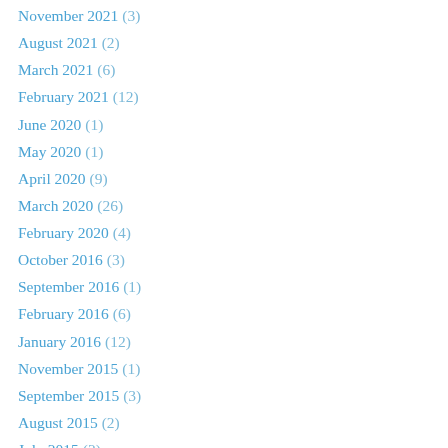November 2021 (3)
August 2021 (2)
March 2021 (6)
February 2021 (12)
June 2020 (1)
May 2020 (1)
April 2020 (9)
March 2020 (26)
February 2020 (4)
October 2016 (3)
September 2016 (1)
February 2016 (6)
January 2016 (12)
November 2015 (1)
September 2015 (3)
August 2015 (2)
July 2015 (2)
May 2015 (2)
March 2015 (3)
February 2015 (6)